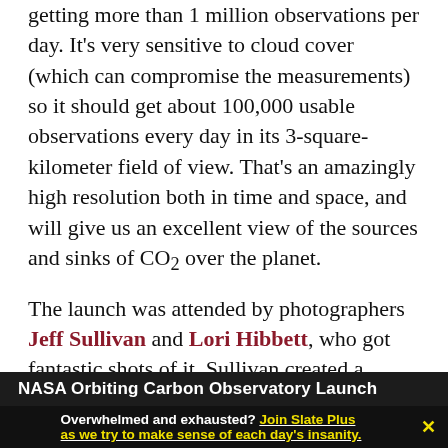getting more than 1 million observations per day. It's very sensitive to cloud cover (which can compromise the measurements) so it should get about 100,000 usable observations every day in its 3-square-kilometer field of view. That's an amazingly high resolution both in time and space, and will give us an excellent view of the sources and sinks of CO₂ over the planet.
The launch was attended by photographers Jeff Sullivan and Lori Hibbett, who got fantastic shots of it. Sullivan created a lovely time-lapse video of the night:
[Figure (screenshot): Dark background video thumbnail with white bold text: NASA Orbiting Carbon Observatory Launch]
Overwhelmed and exhausted? Join Slate Plus as we try to make sense of each day's insanity.